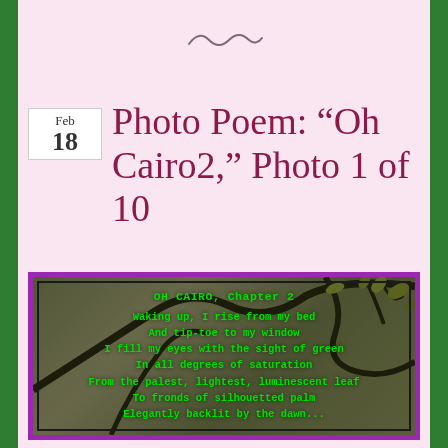[Figure (illustration): Decorative squiggle/tilde ornament in dark color on pink background]
Photo Poem: “Oh Cairo2,” Photo 1 of 10
[Figure (photo): Photo of tree branches with leaves backlit by dawn light, overlaid with green monospace poem text reading: OH CAIRO, Chapter 2 / Waking up, I rise from my bed / And tip-toe to my window / I fill my eyes with the sight of green / In all degrees of saturation / From the palest, lightest, luminescent leaf / To fronds of silhouetted palm / Elegantly backlit by the dawn...]